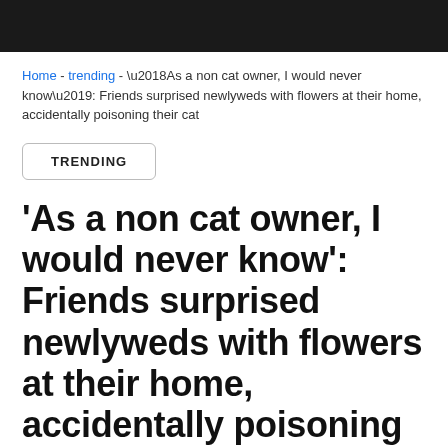Home - trending - ‘As a non cat owner, I would never know’: Friends surprised newlyweds with flowers at their home, accidentally poisoning their cat
TRENDING
‘As a non cat owner, I would never know’: Friends surprised newlyweds with flowers at their home, accidentally poisoning their cat